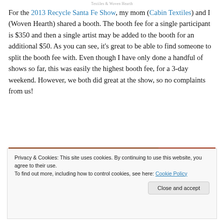Textiles & Woven Hearth
For the 2013 Recycle Santa Fe Show, my mom (Cabin Textiles) and I (Woven Hearth) shared a booth. The booth fee for a single participant is $350 and then a single artist may be added to the booth for an additional $50. As you can see, it's great to be able to find someone to split the booth fee with. Even though I have only done a handful of shows so far, this was easily the highest booth fee, for a 3-day weekend. However, we both did great at the show, so no complaints from us!
[Figure (photo): Partial view of a photo showing textiles or crafts at the show, partially obscured by cookie consent banner]
Privacy & Cookies: This site uses cookies. By continuing to use this website, you agree to their use.
To find out more, including how to control cookies, see here: Cookie Policy
Close and accept